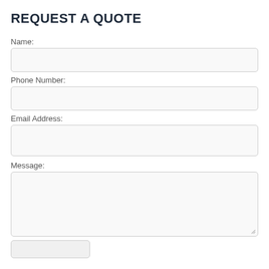REQUEST A QUOTE
Name:
Phone Number:
Email Address:
Message: